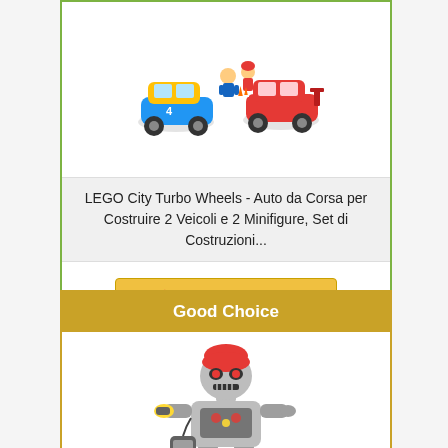[Figure (photo): LEGO City racing cars set with two minifigures and traffic cones]
LEGO City Turbo Wheels - Auto da Corsa per Costruire 2 Veicoli e 2 Minifigure, Set di Costruzioni...
Check on Amazon
Good Choice
[Figure (photo): Silver robot toy with remote controller, red helmet, and disc launcher]